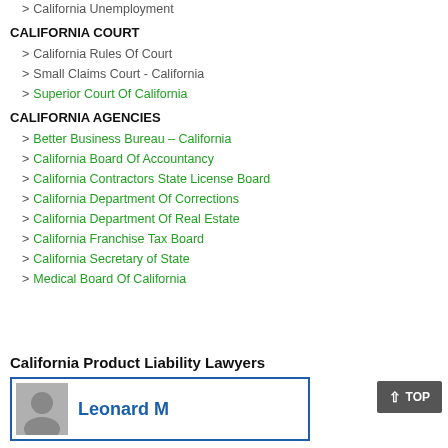> California Unemployment
CALIFORNIA COURT
> California Rules Of Court
> Small Claims Court - California
> Superior Court Of California
CALIFORNIA AGENCIES
> Better Business Bureau – California
> California Board Of Accountancy
> California Contractors State License Board
> California Department Of Corrections
> California Department Of Real Estate
> California Franchise Tax Board
> California Secretary of State
> Medical Board Of California
California Product Liability Lawyers
Leonard M